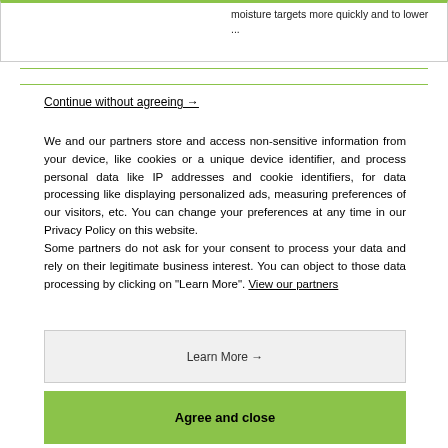moisture targets more quickly and to lower ...
Continue without agreeing →
We and our partners store and access non-sensitive information from your device, like cookies or a unique device identifier, and process personal data like IP addresses and cookie identifiers, for data processing like displaying personalized ads, measuring preferences of our visitors, etc. You can change your preferences at any time in our Privacy Policy on this website.
Some partners do not ask for your consent to process your data and rely on their legitimate business interest. You can object to those data processing by clicking on "Learn More". View our partners
Learn More →
Agree and close